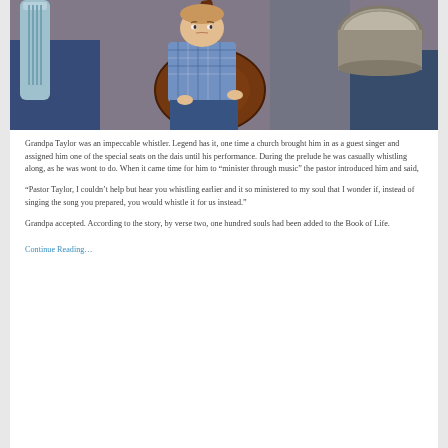[Figure (photo): A young boy holding an acoustic guitar among musicians in a band setting, with an electric guitar visible on the left and drums on the right]
Grandpa Taylor was an impeccable whistler. Legend has it, one time a church brought him in as a guest singer and assigned him one of the special seats on the dais until his performance. During the prelude he was casually whistling along, as he was wont to do. When it came time for him to “minister through music” the pastor introduced him and said,
“Pastor Taylor, I couldn’t help but hear you whistling earlier and it so ministered to my soul that I wonder if, instead of singing the song you prepared, you would whistle it for us instead.”
Grandpa accepted. According to the story, by verse two, one hundred souls had been added to the Book of Life.
Continue Reading…